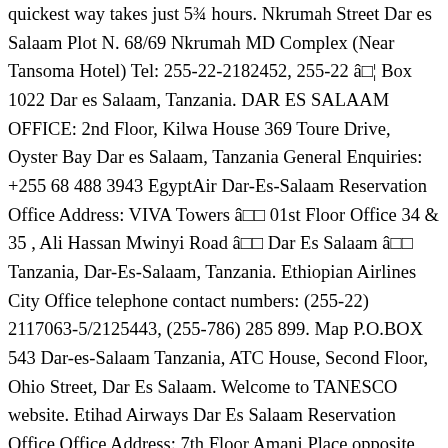quickest way takes just 5¾ hours. Nkrumah Street Dar es Salaam Plot N. 68/69 Nkrumah MD Complex (Near Tansoma Hotel) Tel: 255-22-2182452, 255-22 â□¦ Box 1022 Dar es Salaam, Tanzania. DAR ES SALAAM OFFICE: 2nd Floor, Kilwa House 369 Toure Drive, Oyster Bay Dar es Salaam, Tanzania General Enquiries: +255 68 488 3943 EgyptAir Dar-Es-Salaam Reservation Office Address: VIVA Towers â□□ 01st Floor Office 34 & 35 , Ali Hassan Mwinyi Road â□□ Dar Es Salaam â□□ Tanzania, Dar-Es-Salaam, Tanzania. Ethiopian Airlines City Office telephone contact numbers: (255-22) 2117063-5/2125443, (255-786) 285 899. Map P.O.BOX 543 Dar-es-Salaam Tanzania, ATC House, Second Floor, Ohio Street, Dar Es Salaam. Welcome to TANESCO website. Etihad Airways Dar Es Salaam Reservation Office Office Address: 7th Floor Amani Place opposite Serena Hotel, Ohio Street, Dar es salaam, Dar Es Salaam, Tanzania. Etihad Airways Reservation Office telephone contact numbers: +255 222196875/+255 222196841/+255 222196842 Email: